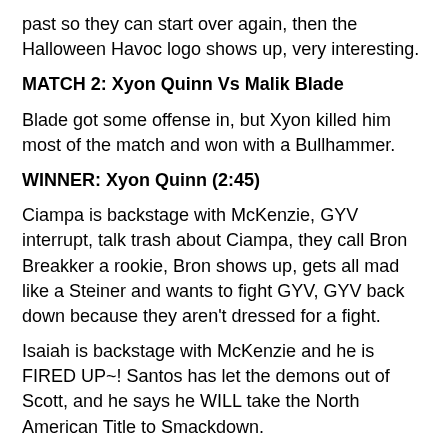past so they can start over again, then the Halloween Havoc logo shows up, very interesting.
MATCH 2: Xyon Quinn Vs Malik Blade
Blade got some offense in, but Xyon killed him most of the match and won with a Bullhammer.
WINNER: Xyon Quinn (2:45)
Ciampa is backstage with McKenzie, GYV interrupt, talk trash about Ciampa, they call Bron Breakker a rookie, Bron shows up, gets all mad like a Steiner and wants to fight GYV, GYV back down because they aren't dressed for a fight.
Isaiah is backstage with McKenzie and he is FIRED UP~! Santos has let the demons out of Scott, and he says he WILL take the North American Title to Smackdown.
MATCH 3: Ivy Nile (w/ Brutus Creed, Julius Creed, Hashiman, Malcolm Bivons and Roderick Strong) Vs